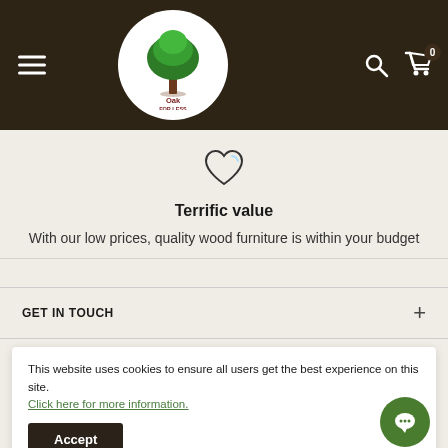[Figure (logo): Oak For Less logo: green tree illustration inside white circle on dark brown header, with text 'Oak FOR LESS' in brown/dark red beneath the tree]
Terrific value
With our low prices, quality wood furniture is within your budget
GET IN TOUCH
This website uses cookies to ensure all users get the best experience on this site. Click here for more information.
Accept
NEWSLETTER